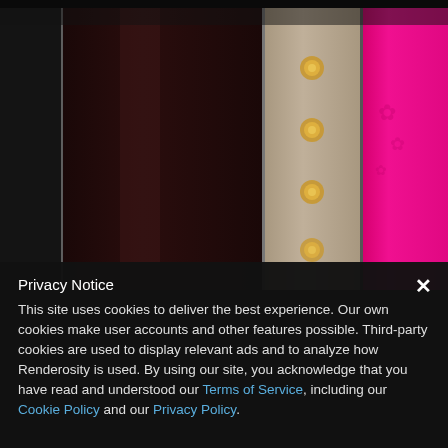[Figure (photo): Close-up photo of book spines: dark maroon book on left, tan/beige spine with gold decorative circles in the center, and a bright hot-pink book on the right. Dark background on far left and right edges.]
Privacy Notice
This site uses cookies to deliver the best experience. Our own cookies make user accounts and other features possible. Third-party cookies are used to display relevant ads and to analyze how Renderosity is used. By using our site, you acknowledge that you have read and understood our Terms of Service, including our Cookie Policy and our Privacy Policy.